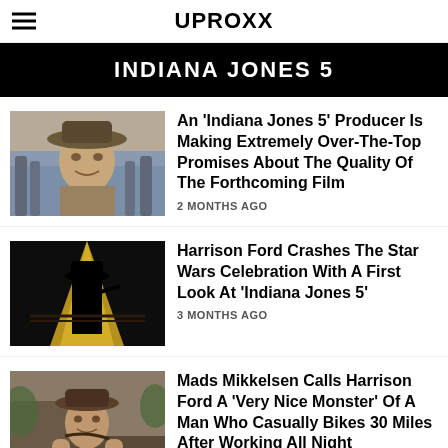UPROXX
INDIANA JONES 5
An ‘Indiana Jones 5’ Producer Is Making Extremely Over-The-Top Promises About The Quality Of The Forthcoming Film — 2 MONTHS AGO
Harrison Ford Crashes The Star Wars Celebration With A First Look At ‘Indiana Jones 5’ — 3 MONTHS AGO
Mads Mikkelsen Calls Harrison Ford A ‘Very Nice Monster’ Of A Man Who Casually Bikes 30 Miles After Working All Night — 5 MONTHS AGO